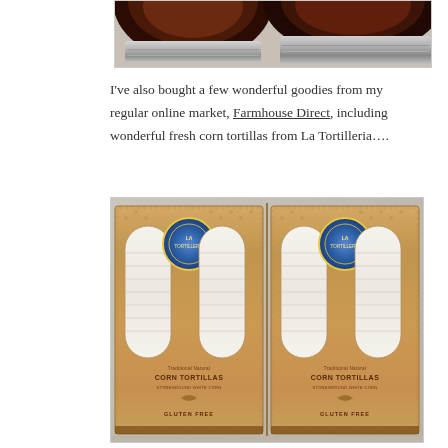[Figure (photo): Close-up photo of two glass jars with metal lids containing dark red sauce or jam, sitting on a light speckled countertop. Only the bottom portions of the jars and their lids are visible.]
I've also bought a few wonderful goodies from my regular online market, Farmhouse Direct, including wonderful fresh corn tortillas from La Tortilleria….
[Figure (photo): Photo of two packages of La Tortilleria corn tortillas side by side on a speckled countertop. The kraft paper packages show a window revealing white tortillas inside, with a blue circular badge logo, text reading 'Traditional Natural CORN TORTILLAS Stoneground White Corn' and 'Gluten Free'.]